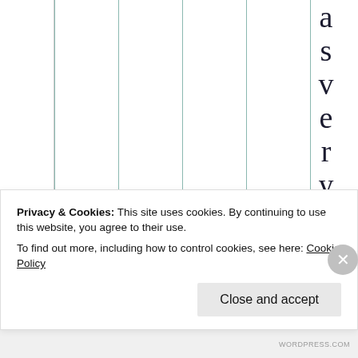[Figure (other): Partial view of a table with vertical teal/green column dividers. On the right side, the word 'as very young' is displayed vertically with each letter on its own line in large serif font.]
Privacy & Cookies: This site uses cookies. By continuing to use this website, you agree to their use.
To find out more, including how to control cookies, see here: Cookie Policy